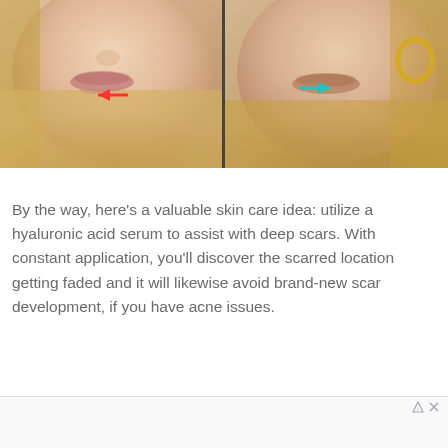[Figure (photo): Side-by-side close-up photos of two women's faces showing skin/wrinkle comparison. Left photo has a red arrow pointing to a wrinkle/scar near the mouth. Right photo has a cyan arrow pointing to a smoother area near the mouth/jaw. Both women have blonde hair and gold hoop earrings.]
By the way, here’s a valuable skin care idea: utilize a hyaluronic acid serum to assist with deep scars. With constant application, you’ll discover the scarred location getting faded and it will likewise avoid brand-new scar development, if you have acne issues.
[Figure (other): Advertisement placeholder box with ad choice icons (triangle and X) in top right corner.]